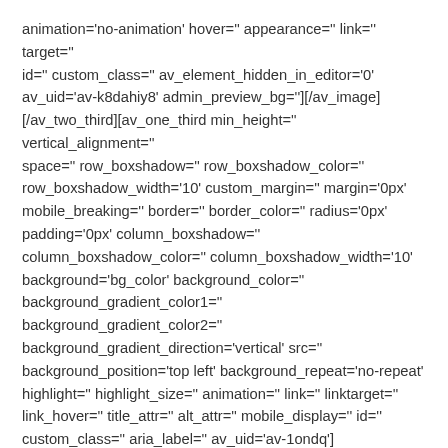animation='no-animation' hover='' appearance='' link='' target='' id='' custom_class='' av_element_hidden_in_editor='0' av_uid='av-k8dahiy8' admin_preview_bg=''][/av_image] [/av_two_third][av_one_third min_height='' vertical_alignment='' space='' row_boxshadow='' row_boxshadow_color='' row_boxshadow_width='10' custom_margin='' margin='0px' mobile_breaking='' border='' border_color='' radius='0px' padding='0px' column_boxshadow='' column_boxshadow_color='' column_boxshadow_width='10' background='bg_color' background_color='' background_gradient_color1='' background_gradient_color2='' background_gradient_direction='vertical' src='' background_position='top left' background_repeat='no-repeat' highlight='' highlight_size='' animation='' link='' linktarget='' link_hover='' title_attr='' alt_attr='' mobile_display='' id='' custom_class='' aria_label='' av_uid='av-1ondq'] [av_image src='http://radpainclinic.ir/wp-